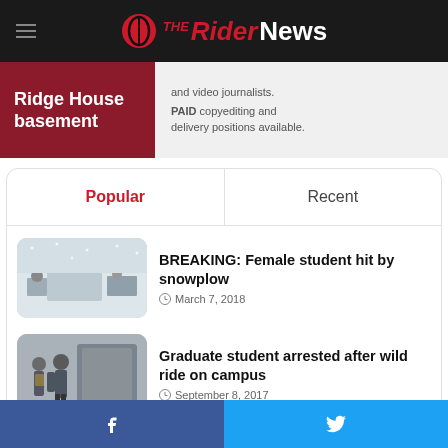The Rider News
Ridge House basement
and video journalists. PAID copyediting and delivery positions available.
Popular | Recent
BREAKING: Female student hit by snowplow
March 7, 2018
Graduate student arrested after wild ride on campus
September 8, 2017
Facebook | Twitter